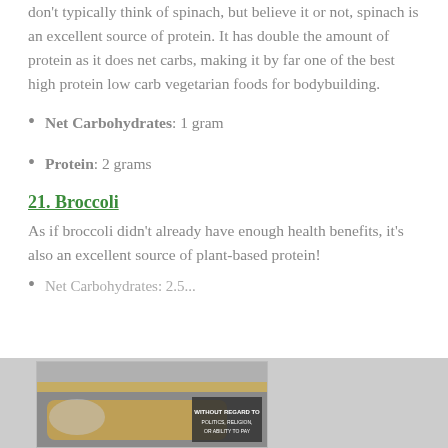don't typically think of spinach, but believe it or not, spinach is an excellent source of protein. It has double the amount of protein as it does net carbs, making it by far one of the best high protein low carb vegetarian foods for bodybuilding.
Net Carbohydrates: 1 gram
Protein: 2 grams
21. Broccoli
As if broccoli didn't already have enough health benefits, it's also an excellent source of plant-based protein!
[Figure (photo): Advertisement banner showing an airplane being loaded with cargo, with text 'WITHOUT REGARD TO POLITICS, RELIGION, OR ABILITY TO PAY']